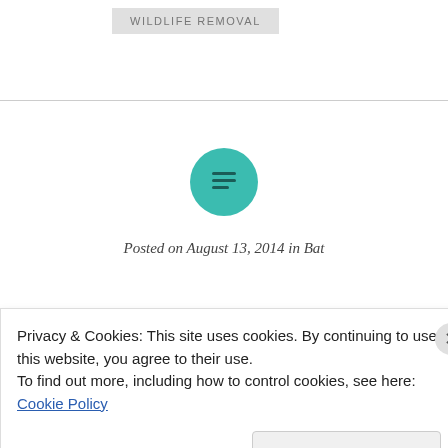WILDLIFE REMOVAL
[Figure (illustration): Teal circular icon with horizontal lines (menu/text icon) in the center]
Posted on August 13, 2014 in Bat
Privacy & Cookies: This site uses cookies. By continuing to use this website, you agree to their use.
To find out more, including how to control cookies, see here: Cookie Policy
Close and accept